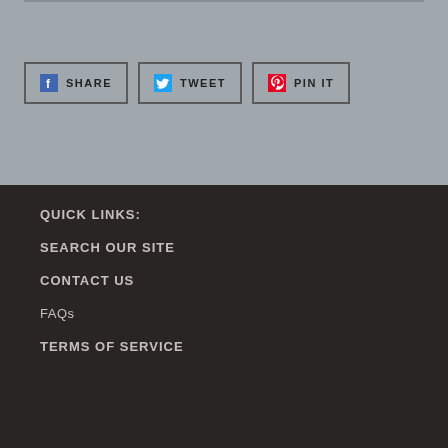[Figure (other): Social share buttons: SHARE (Facebook), TWEET (Twitter), PIN IT (Pinterest)]
QUICK LINKS:
SEARCH OUR SITE
CONTACT US
FAQs
TERMS OF SERVICE